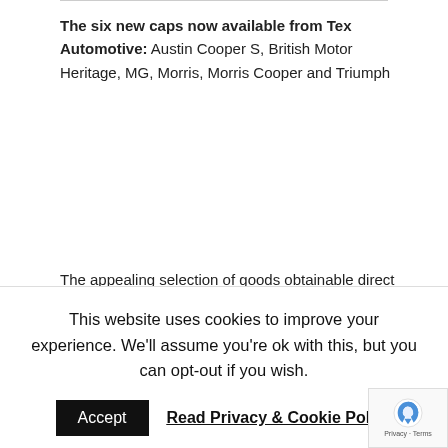The six new caps now available from Tex Automotive: Austin Cooper S, British Motor Heritage, MG, Morris, Morris Cooper and Triumph
The appealing selection of goods obtainable direct
This website uses cookies to improve your experience. We'll assume you're ok with this, but you can opt-out if you wish.
Accept   Read Privacy & Cookie Policy
EBC brake discs, drums, pads and shoes
Renovo hood, carpet and leather treatments
Samco silicone hoses
Fueltone and Castrol fuel additives
A large line-up of fuel caps to suit most clas